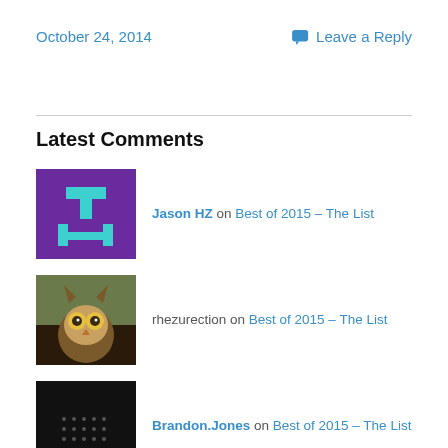October 24, 2014
Leave a Reply
Latest Comments
Jason HZ on Best of 2015 – The List
rhezurection on Best of 2015 – The List
Brandon.Jones on Best of 2015 – The List
Jorge on Best of 2015 – The List
Brandon.Jones on Best of 2015 – The List